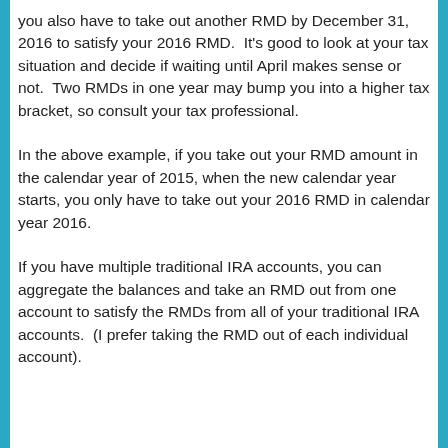you also have to take out another RMD by December 31, 2016 to satisfy your 2016 RMD.  It's good to look at your tax situation and decide if waiting until April makes sense or not.  Two RMDs in one year may bump you into a higher tax bracket, so consult your tax professional.
In the above example, if you take out your RMD amount in the calendar year of 2015, when the new calendar year starts, you only have to take out your 2016 RMD in calendar year 2016.
If you have multiple traditional IRA accounts, you can aggregate the balances and take an RMD out from one account to satisfy the RMDs from all of your traditional IRA accounts.  (I prefer taking the RMD out of each individual account).